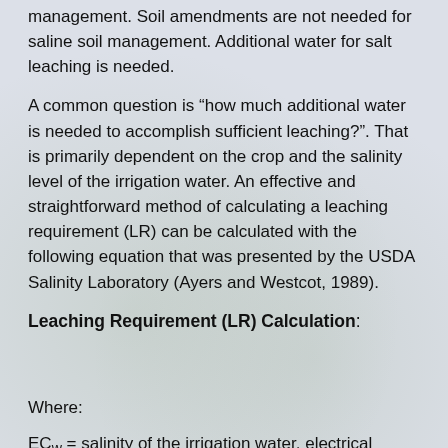management.  Soil amendments are not needed for saline soil management.  Additional water for salt leaching is needed.
A common question is “how much additional water is needed to accomplish sufficient leaching?”.   That is primarily dependent on the crop and the salinity level of the irrigation water.  An effective and straightforward method of calculating a leaching requirement (LR) can be calculated with the following equation that was presented by the USDA Salinity Laboratory (Ayers and Westcot, 1989).
Leaching Requirement (LR) Calculation:
Where:
ECᵂ = salinity of the irrigation water, electrical conductivity